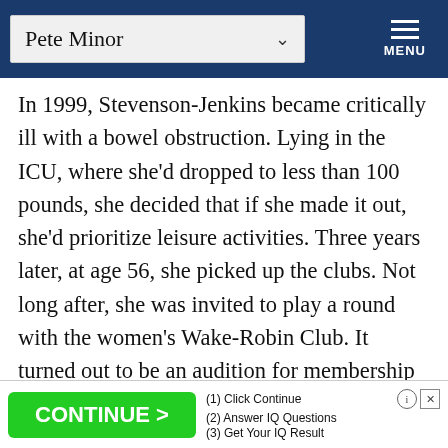Pete Minor | MENU
In 1999, Stevenson-Jenkins became critically ill with a bowel obstruction. Lying in the ICU, where she'd dropped to less than 100 pounds, she decided that if she made it out, she'd prioritize leisure activities. Three years later, at age 56, she picked up the clubs. Not long after, she was invited to play a round with the women's Wake-Robin Club. It turned out to be an audition for membership—and she passed. Like many, Stevenson-
[Figure (screenshot): Advertisement banner with green CONTINUE > button and text: (1) Click Continue, (2) Answer IQ Questions, (3) Get Your IQ Result]